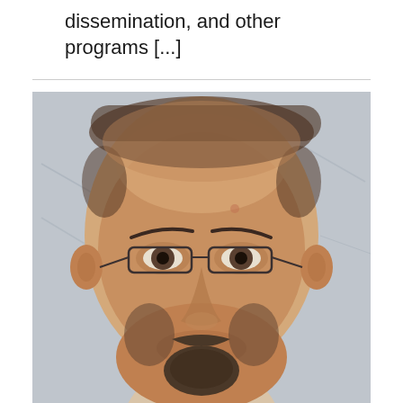dissemination, and other programs [...]
[Figure (photo): Close-up portrait photograph of a middle-aged man with a shaved/very short hair head, wire-rimmed rectangular glasses, a goatee with salt-and-pepper beard. He is wearing a white shirt collar visible at the bottom. The background appears to be a light-colored wall or whiteboard with faint markings.]